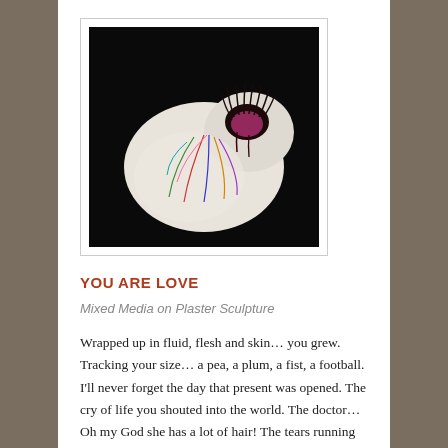[Figure (photo): A plaster sculpture on a black background, white/off-white form with colorful drawn lines and a dark, hair-like opening at the top — appears to be a mixed media artwork on a plaster form.]
YOU ARE LOVE
Mixed Media on Plaster Sculpture
Wrapped up in fluid, flesh and skin… you grew. Tracking your size… a pea, a plum, a fist, a football. I'll never forget the day that present was opened. The cry of life you shouted into the world. The doctor… Oh my God she has a lot of hair! The tears running down your mother's cheeks. The experience of love at first site. I didn't know that was real. The feeling of shedding all selfishness from my being. The knowledge of danger… the day I walked